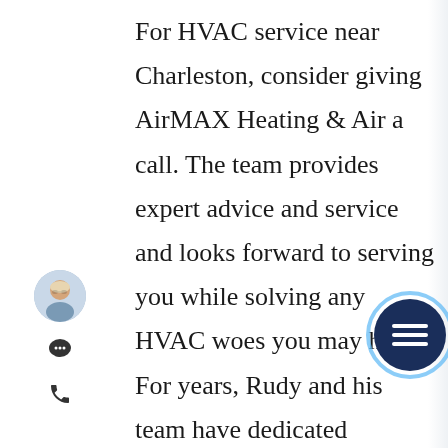[Figure (screenshot): Left sidebar with user avatar photo (woman with glasses), chat bubble icon, and phone icon stacked vertically]
For HVAC service near Charleston, consider giving AirMAX Heating & Air a call. The team provides expert advice and service and looks forward to serving you while solving any HVAC woes you may have. For years, Rudy and his team have dedicated themselves to the ultimate satisfaction of their customers and accrued a number of raving reviews from customers throughout South Carolina. If you're a new customer, AirMAX has
[Figure (illustration): Dark navy blue circular hamburger/menu button with three horizontal white lines, partially overlapping the text content on the right side]